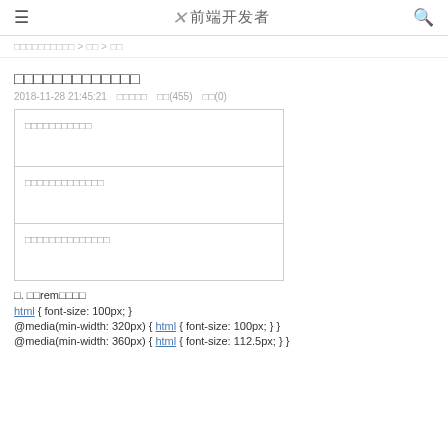≡  ✕ 前端开发者  🔍
□□□□□□□□□□ > □□ > □□
□□□□□□□□□□□□□
2018-11-28 21:45:21   □□□□□   阅读(455)   评论(0)
| □□□□□□□□□□□ |
| □□□□□□□□□□□□□ |
| □□□□□□□□□□□□□□ |
□. □□rem□□□□
html { font-size: 100px; }
@media(min-width: 320px) { html { font-size: 100px; } }
@media(min-width: 360px) { html { font-size: 112.5px; } }